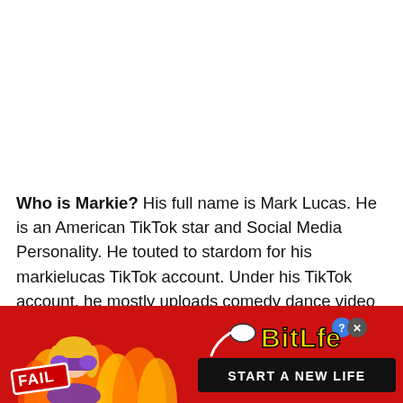Who is Markie? His full name is Mark Lucas. He is an American TikTok star and Social Media Personality. He touted to stardom for his markielucas TikTok account. Under his TikTok account, he mostly uploads comedy dance video clips. He was also one-half of Mark and Cas TikTok account. Beside this, he has an immense fan following under his Instagram account. He is also called from the name markie[...] about Markie[...] Net
[Figure (illustration): Advertisement banner for BitLife game showing a cartoon character with purple outfit covering face, flames in background, FAIL badge, BitLife logo in yellow, and START A NEW LIFE button on black background.]